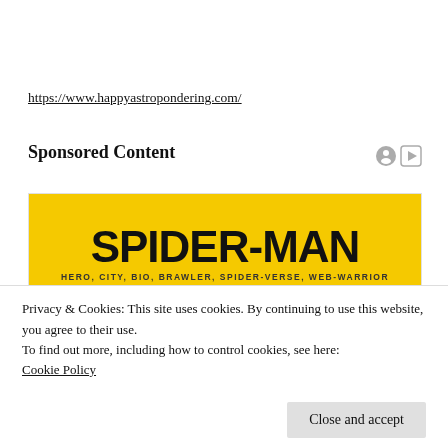https://www.happyastropondering.com/
Sponsored Content
[Figure (illustration): Spider-Man branded advertisement banner with yellow background showing 'SPIDER-MAN' in large bold black text, subtitle 'HERO, CITY, BIO, BRAWLER, SPIDER-VERSE, WEB-WARRIOR', and colorful bottom strip with Spider-Man characters.]
Privacy & Cookies: This site uses cookies. By continuing to use this website, you agree to their use.
To find out more, including how to control cookies, see here:
Cookie Policy
Close and accept